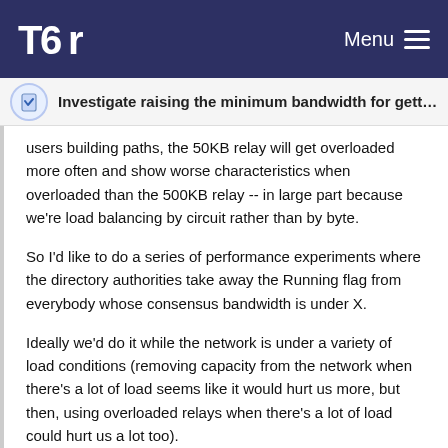Tor | Menu
Investigate raising the minimum bandwidth for getting …
users building paths, the 50KB relay will get overloaded more often and show worse characteristics when overloaded than the 500KB relay -- in large part because we're load balancing by circuit rather than by byte.
So I'd like to do a series of performance experiments where the directory authorities take away the Running flag from everybody whose consensus bandwidth is under X.
Ideally we'd do it while the network is under a variety of load conditions (removing capacity from the network when there's a lot of load seems like it would hurt us more, but then, using overloaded relays when there's a lot of load could hurt us a lot too).
This could even be a research task that we try to give to a research group that wants to work on simulated Tor network performance. But I think that's a separate project.